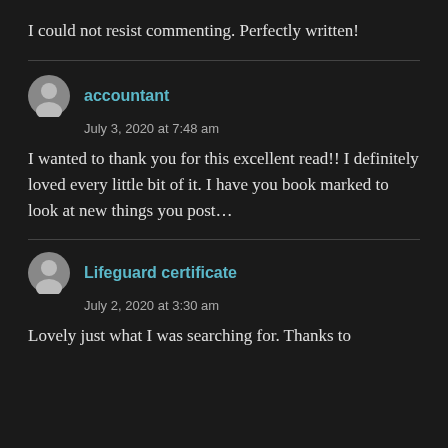I could not resist commenting. Perfectly written!
accountant
July 3, 2020 at 7:48 am
I wanted to thank you for this excellent read!! I definitely loved every little bit of it. I have you book marked to look at new things you post…
Lifeguard certificate
July 2, 2020 at 3:30 am
Lovely just what I was searching for. Thanks to